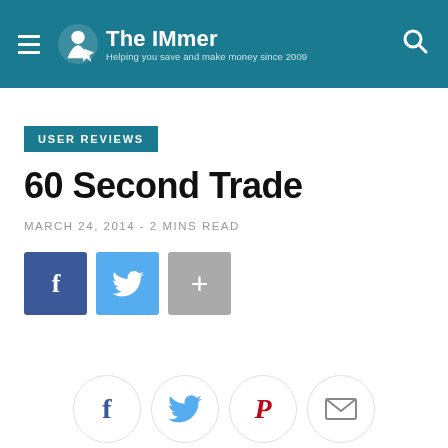The IMmer — Helping you save and make money since 2009
USER REVIEWS
60 Second Trade
MARCH 24, 2014 - 2 MINS READ
[Figure (screenshot): Social share buttons row: Facebook (blue), Twitter (light blue), More (+) (grey); and a bottom row of circular social icons: Facebook, Twitter, Pinterest, Email]